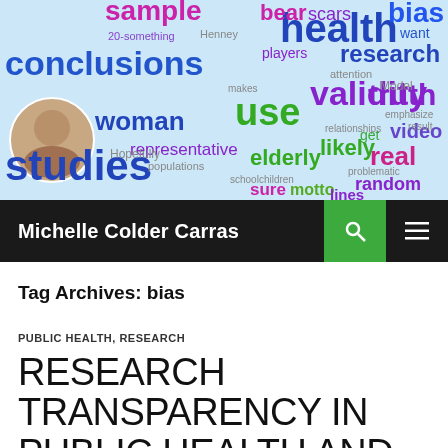[Figure (illustration): Word cloud header banner with colorful words related to research and health, including 'conclusions', 'health', 'validity', 'truth', 'studies', 'use', 'woman', 'representative', 'elderly', 'likely', 'real', 'video', 'random', 'sure', 'motto', 'lines', and many others in blue, purple, green, and magenta colors. A small circular portrait photo of a woman is in the upper left area.]
Michelle Colder Carras
Tag Archives: bias
PUBLIC HEALTH, RESEARCH
RESEARCH TRANSPARENCY IN PUBLIC HEALTH AND CLINICAL RESEARCH- UNICORNS AND